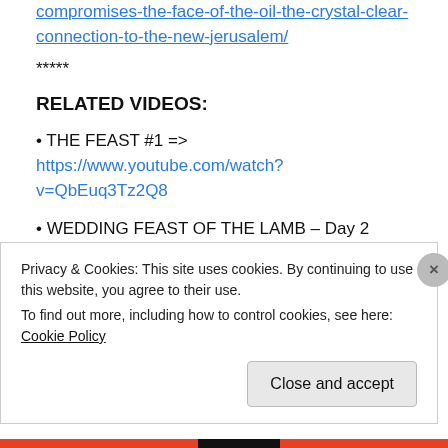compromises-the-face-of-the-oil-the-crystal-clear-connection-to-the-new-jerusalem/
*****
RELATED VIDEOS:
• THE FEAST #1 => https://www.youtube.com/watch?v=QbEuq3Tz2Q8
• WEDDING FEAST OF THE LAMB – Day 2 => https://www.youtube.com/watch?v=tDTvmof0uag
*****
Privacy & Cookies: This site uses cookies. By continuing to use this website, you agree to their use. To find out more, including how to control cookies, see here: Cookie Policy